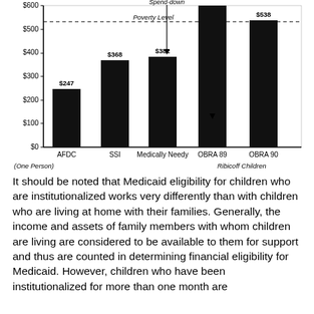[Figure (bar-chart): Medicaid Income Eligibility Levels]
It should be noted that Medicaid eligibility for children who are institutionalized works very differently than with children who are living at home with their families. Generally, the income and assets of family members with whom children are living are considered to be available to them for support and thus are counted in determining financial eligibility for Medicaid. However, children who have been institutionalized for more than one month are